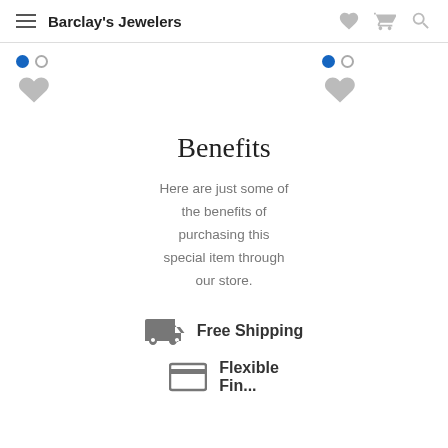Barclay's Jewelers
[Figure (screenshot): Two product cards with radio buttons and heart/favorite icons]
Benefits
Here are just some of the benefits of purchasing this special item through our store.
Free Shipping
Flexible Financing